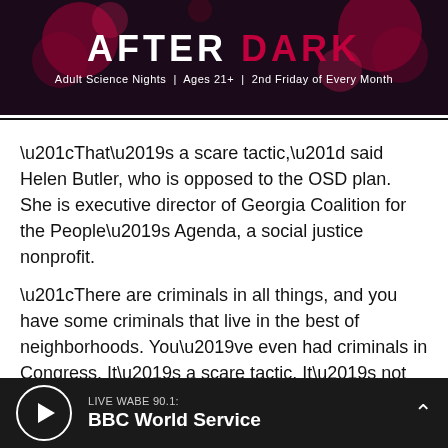[Figure (illustration): Banner advertisement for 'After Dark' adult science nights event with dark background and bokeh lights. Text: AFTER DARK | Adult Science Nights | Ages 21+ | 2nd Friday of Every Month]
“That’s a scare tactic,” said Helen Butler, who is opposed to the OSD plan. She is executive director of Georgia Coalition for the People’s Agenda, a social justice nonprofit.
“There are criminals in all things, and you have some criminals that live in the best of neighborhoods. You’ve even had criminals in Congress. It’s a scare tactic. It’s not used for
LIVE WABE 90.1: BBC World Service